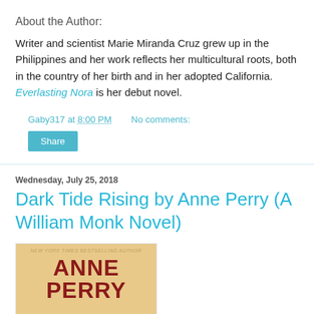About the Author:
Writer and scientist Marie Miranda Cruz grew up in the Philippines and her work reflects her multicultural roots, both in the country of her birth and in her adopted California. Everlasting Nora is her debut novel.
Gaby317 at 8:00 PM   No comments:
Share
Wednesday, July 25, 2018
Dark Tide Rising by Anne Perry (A William Monk Novel)
[Figure (photo): Book cover for Dark Tide Rising by Anne Perry showing the author name in large red letters on a warm background]